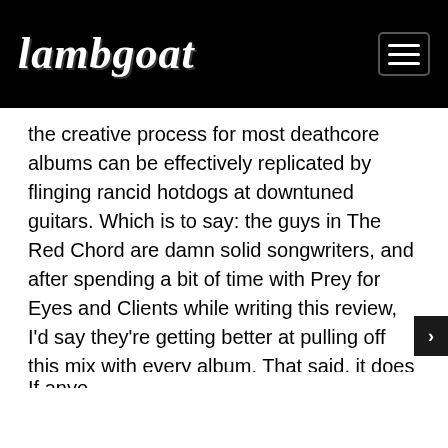Lambgoat
the creative process for most deathcore albums can be effectively replicated by flinging rancid hotdogs at downtuned guitars. Which is to say: the guys in The Red Chord are damn solid songwriters, and after spending a bit of time with Prey for Eyes and Clients while writing this review, I'd say they're getting better at pulling off this mix with every album. That said, it does seem that a large portion of the band's audience is breathlessly awaiting the album that will put Fused Between Revolving Doors to shame.
If anyo... st sonion...
[Figure (screenshot): BLOODBATH advertisement banner - 'SURVIVAL OF THE SICKEST' OUT SEP 9th]